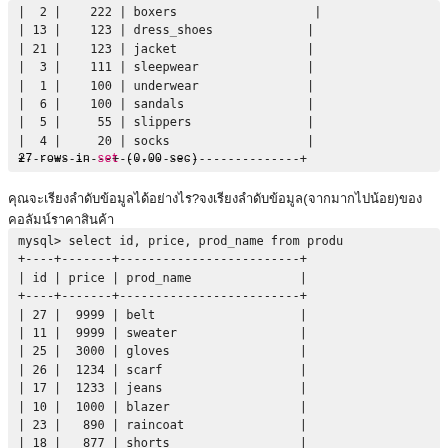| id | price | prod_name |
| --- | --- | --- |
| 2 | 222 | boxers |
| 13 | 123 | dress_shoes |
| 21 | 123 | jacket |
| 3 | 111 | sleepwear |
| 1 | 100 | underwear |
| 6 | 100 | sandals |
| 5 | 55 | slippers |
| 4 | 20 | socks |
27 rows in set (0.00 sec)
คุณจะเรียงลำดับข้อมูลได้อย่างไร?จงเรียงลำดับข้อมูล(จากมากไปน้อย)ของคอลัมน์ราคาสินค้า
mysql> select id, price, prod_name from produ
| id | price | prod_name |
| --- | --- | --- |
| 27 | 9999 | belt |
| 11 | 9999 | sweater |
| 25 | 3000 | gloves |
| 26 | 1234 | scarf |
| 17 | 1233 | jeans |
| 10 | 1000 | blazer |
| 23 | 890 | raincoat |
| 18 | 877 | shorts |
| 24 | 777 | hat |
| 20 | 724 | casual_shoes |